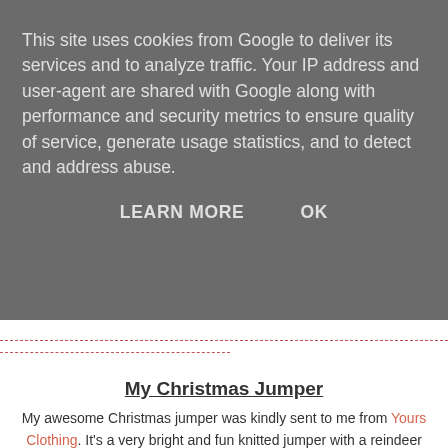This site uses cookies from Google to deliver its services and to analyze traffic. Your IP address and user-agent are shared with Google along with performance and security metrics to ensure quality of service, generate usage statistics, and to detect and address abuse.
LEARN MORE   OK
My Christmas Jumper
My awesome Christmas jumper was kindly sent to me from Yours Clothing. It's a very bright and fun knitted jumper with a reindeer and snow motif. The jumper is priced at a very reasonable £24.  The jumpers have been so popular that unfortunately Yours Clothing are currently sold out of this specific jumper online; although hopefully they'll be getting some more in soon!